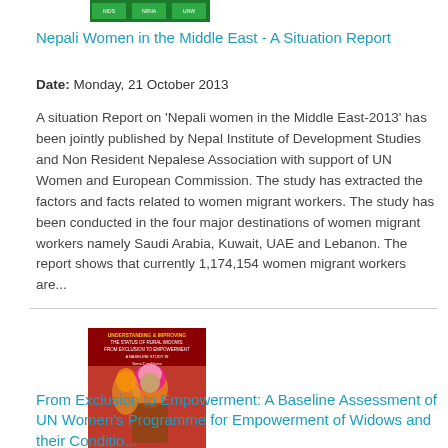[Figure (illustration): Small green book cover thumbnail at top of page]
Nepali Women in the Middle East - A Situation Report
Date: Monday, 21 October 2013
A situation Report on 'Nepali women in the Middle East-2013' has been jointly published by Nepal Institute of Development Studies and Non Resident Nepalese Association with support of UN Women and European Commission. The study has extracted the factors and facts related to women migrant workers. The study has been conducted in the four major destinations of women migrant workers namely Saudi Arabia, Kuwait, UAE and Lebanon. The report shows that currently 1,174,154 women migrant workers are...
[Figure (photo): Book cover for 'From Exclusion to Empowerment' showing women in traditional dress]
From Exclusion to Empowerment: A Baseline Assessment of UN Women's Programme for Empowerment of Widows and their Conditio...